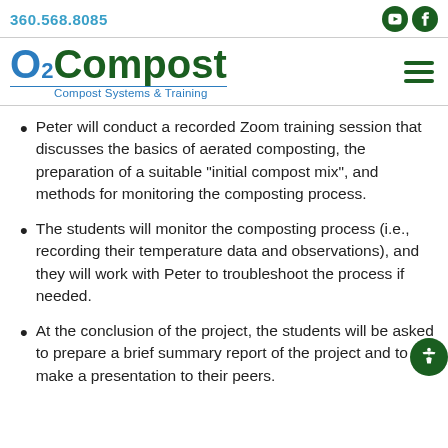360.568.8085
[Figure (logo): O2Compost logo with text 'Compost Systems & Training']
Peter will conduct a recorded Zoom training session that discusses the basics of aerated composting, the preparation of a suitable “initial compost mix”, and methods for monitoring the composting process.
The students will monitor the composting process (i.e., recording their temperature data and observations), and they will work with Peter to troubleshoot the process if needed.
At the conclusion of the project, the students will be asked to prepare a brief summary report of the project and to make a presentation to their peers.